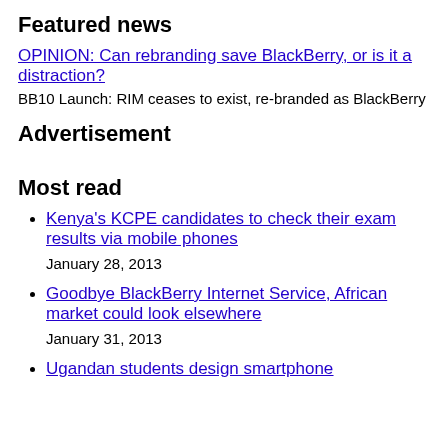Featured news
OPINION: Can rebranding save BlackBerry, or is it a distraction?
BB10 Launch: RIM ceases to exist, re-branded as BlackBerry
Advertisement
Most read
Kenya's KCPE candidates to check their exam results via mobile phones
January 28, 2013
Goodbye BlackBerry Internet Service, African market could look elsewhere
January 31, 2013
Ugandan students design smartphone